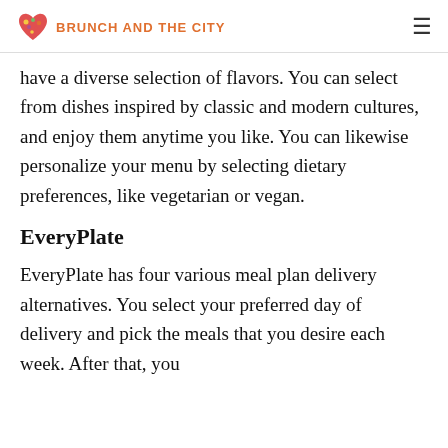BRUNCH AND THE CITY
have a diverse selection of flavors. You can select from dishes inspired by classic and modern cultures, and enjoy them anytime you like. You can likewise personalize your menu by selecting dietary preferences, like vegetarian or vegan.
EveryPlate
EveryPlate has four various meal plan delivery alternatives. You select your preferred day of delivery and pick the meals that you desire each week. After that, you